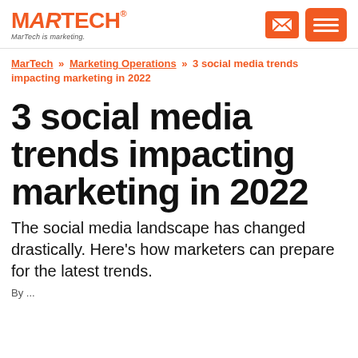MARTECH — MarTech is marketing.
MarTech » Marketing Operations » 3 social media trends impacting marketing in 2022
3 social media trends impacting marketing in 2022
The social media landscape has changed drastically. Here's how marketers can prepare for the latest trends.
By ... February 2, 2022 · All ... Redirecting...